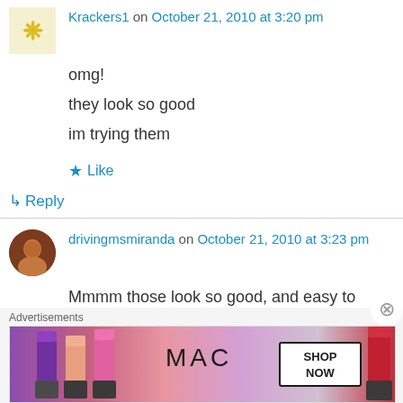Krackers1 on October 21, 2010 at 3:20 pm
omg!
they look so good
im trying them
Like
Reply
drivingmsmiranda on October 21, 2010 at 3:23 pm
Mmmm those look so good, and easy to make! Thanks so much for the post.

On, and congrats on being Freshly Pressed! 🙂
[Figure (photo): MAC cosmetics advertisement showing lipsticks in purple, peach, pink, and red with MAC logo and SHOP NOW button]